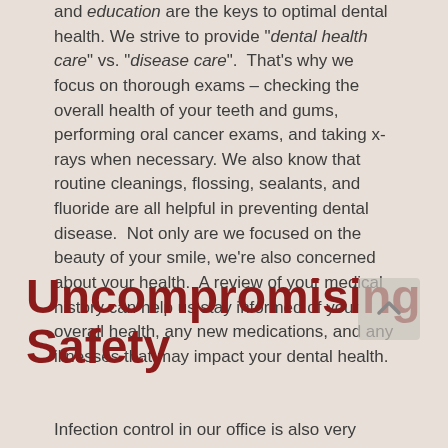and education are the keys to optimal dental health. We strive to provide "dental health care" vs. "disease care". That's why we focus on thorough exams – checking the overall health of your teeth and gums, performing oral cancer exams, and taking x-rays when necessary. We also know that routine cleanings, flossing, sealants, and fluoride are all helpful in preventing dental disease. Not only are we focused on the beauty of your smile, we're also concerned about your health. A review of your medical history can help us stay informed of your overall health, any new medications, and any illnesses that may impact your dental health.
Uncompromising Safety
Infection control in our office is also very important to